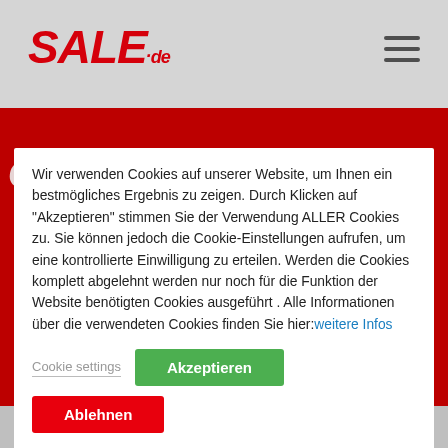SALE.de
[Figure (screenshot): Cookie consent modal overlay on SALE.de website showing cookie policy text in German with Accept, Cookie settings, and Reject buttons]
Wir verwenden Cookies auf unserer Website, um Ihnen ein bestmögliches Ergebnis zu zeigen. Durch Klicken auf "Akzeptieren" stimmen Sie der Verwendung ALLER Cookies zu. Sie können jedoch die Cookie-Einstellungen aufrufen, um eine kontrollierte Einwilligung zu erteilen. Werden die Cookies komplett abgelehnt werden nur noch für die Funktion der Website benötigten Cookies ausgeführt . Alle Informationen über die verwendeten Cookies finden Sie hier:weitere Infos
Cookie settings
Akzeptieren
Ablehnen